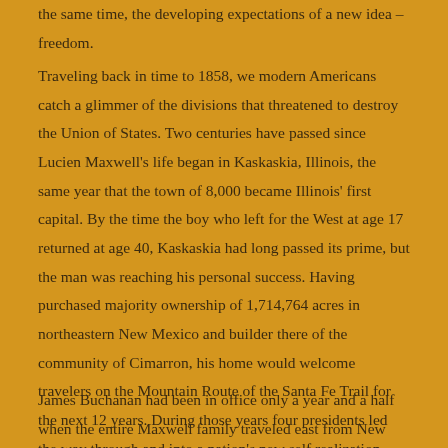the same time, the developing expectations of a new idea – freedom.
Traveling back in time to 1858, we modern Americans catch a glimmer of the divisions that threatened to destroy the Union of States. Two centuries have passed since Lucien Maxwell's life began in Kaskaskia, Illinois, the same year that the town of 8,000 became Illinois' first capital. By the time the boy who left for the West at age 17 returned at age 40, Kaskaskia had long passed its prime, but the man was reaching his personal success. Having purchased majority ownership of 1,714,764 acres in northeastern New Mexico and builder there of the community of Cimarron, his home would welcome travelers on the Mountain Route of the Santa Fe Trail for the next 12 years. During those years four presidents led the way through and into a nation's new self realization.
James Buchanan had been in office only a year and a half when the entire Maxwell family traveled east from New Mexico, across the